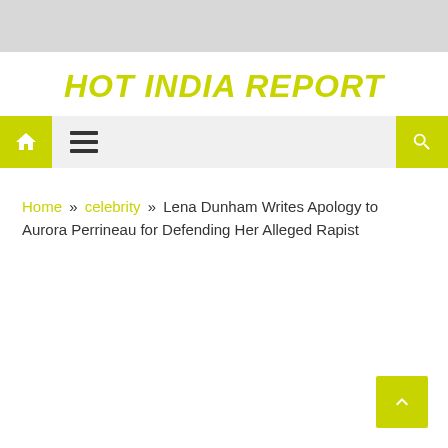HOT INDIA REPORT
Home » celebrity » Lena Dunham Writes Apology to Aurora Perrineau for Defending Her Alleged Rapist